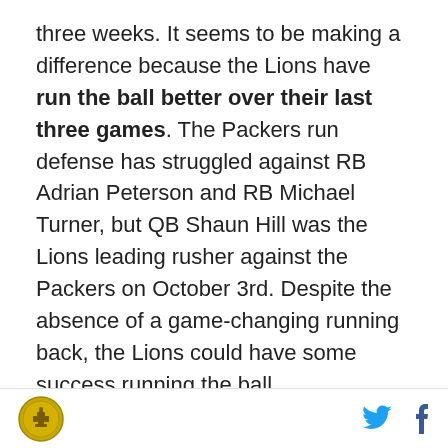three weeks. It seems to be making a difference because the Lions have run the ball better over their last three games. The Packers run defense has struggled against RB Adrian Peterson and RB Michael Turner, but QB Shaun Hill was the Lions leading rusher against the Packers on October 3rd. Despite the absence of a game-changing running back, the Lions could have some success running the ball.
Any pass offense with WR Calvin Johnson has a chance at causing some havoc. I was surprised how well QB Drew Stanton played last week. The Bears defense is designed to give up short passes, and make their opponent work down the field before they make a
[logo] [twitter] [facebook]